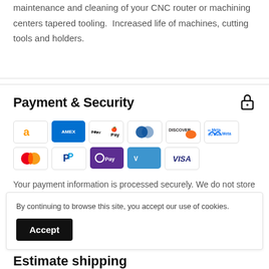maintenance and cleaning of your CNC router or machining centers tapered tooling.  Increased life of machines, cutting tools and holders.
Payment & Security
[Figure (other): Payment method logos: Amazon, Amex, Apple Pay, Diners Club, Discover, Meta Pay, Mastercard, PayPal, OPay, Venmo, Visa]
Your payment information is processed securely. We do not store credit card details nor have access to your
By continuing to browse this site, you accept our use of cookies.
Accept
Estimate shipping